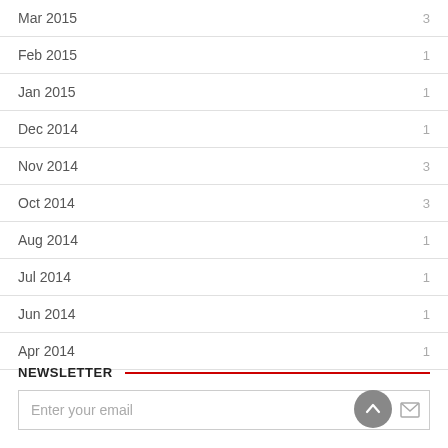Mar 2015   3
Feb 2015   1
Jan 2015   1
Dec 2014   1
Nov 2014   3
Oct 2014   3
Aug 2014   1
Jul 2014   1
Jun 2014   1
Apr 2014   1
NEWSLETTER
Enter your email